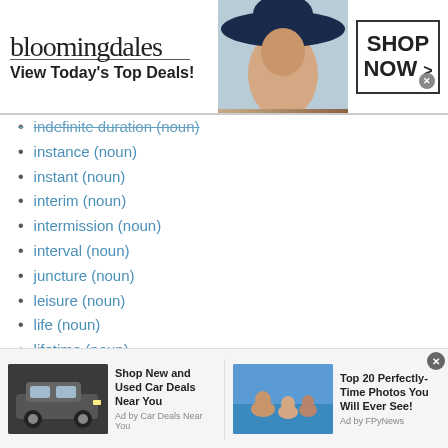[Figure (other): Bloomingdales advertisement banner: bloomingdales logo, 'View Today's Top Deals!', woman with hat, 'SHOP NOW >' button]
indefinite duration (noun)
instance (noun)
instant (noun)
interim (noun)
intermission (noun)
interval (noun)
juncture (noun)
leisure (noun)
life (noun)
lifetime (noun)
measure (noun)
measurement (noun)
moment (noun)
occasion (noun)
opening (noun)
opportunity (noun)
order of business (noun)
[Figure (other): Bottom advertisement with two units: 'Shop New and Used Car Deals Near You' (Ad by Car Deals Near You) and 'Top 20 Perfectly-Time Photos You Will Ever See!' (Ad by FPyNews)]